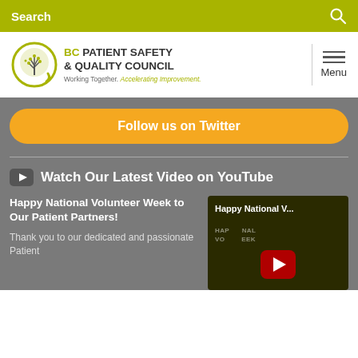Search
[Figure (logo): BC Patient Safety & Quality Council logo with circular tree icon. Text: BC PATIENT SAFETY & QUALITY COUNCIL, Working Together. Accelerating Improvement.]
Menu
Follow us on Twitter
Watch Our Latest Video on YouTube
Happy National Volunteer Week to Our Patient Partners!
Thank you to our dedicated and passionate Patient
[Figure (screenshot): YouTube video thumbnail with title 'Happy National V...' and red play button on dark background]